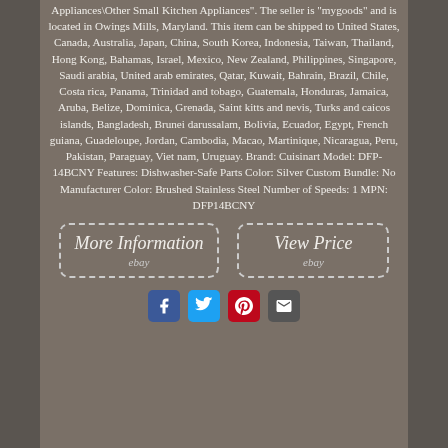Appliances\Other Small Kitchen Appliances". The seller is "mygoods" and is located in Owings Mills, Maryland. This item can be shipped to United States, Canada, Australia, Japan, China, South Korea, Indonesia, Taiwan, Thailand, Hong Kong, Bahamas, Israel, Mexico, New Zealand, Philippines, Singapore, Saudi arabia, United arab emirates, Qatar, Kuwait, Bahrain, Brazil, Chile, Costa rica, Panama, Trinidad and tobago, Guatemala, Honduras, Jamaica, Aruba, Belize, Dominica, Grenada, Saint kitts and nevis, Turks and caicos islands, Bangladesh, Brunei darussalam, Bolivia, Ecuador, Egypt, French guiana, Guadeloupe, Jordan, Cambodia, Macao, Martinique, Nicaragua, Peru, Pakistan, Paraguay, Viet nam, Uruguay. Brand: Cuisinart Model: DFP-14BCNY Features: Dishwasher-Safe Parts Color: Silver Custom Bundle: No Manufacturer Color: Brushed Stainless Steel Number of Speeds: 1 MPN: DFP14BCNY
[Figure (infographic): Two eBay-style buttons side by side: 'More Information' and 'View Price', each with dashed border and 'ebay' sub-label]
[Figure (infographic): Social sharing icons row: Facebook, Twitter, Pinterest, Email]